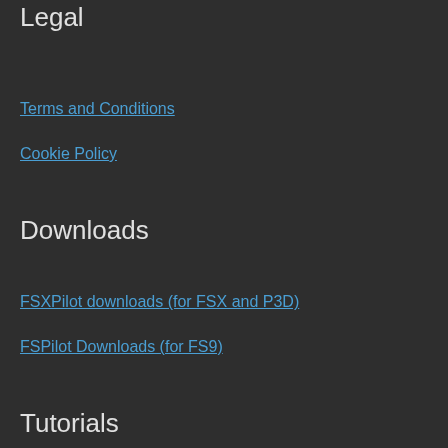Legal
Terms and Conditions
Cookie Policy
Downloads
FSXPilot downloads (for FSX and P3D)
FSPilot Downloads (for FS9)
Tutorials
Quickstart lesson FSXPilot
Youtube FSXPilot video lessons
FAQ